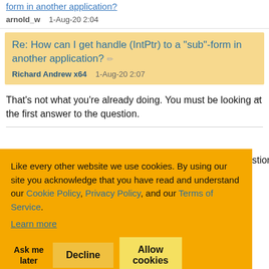form in another application?
arnold_w   1-Aug-20 2:04
Re: How can I get handle (IntPtr) to a "sub"-form in another application?
Richard Andrew x64   1-Aug-20 2:07
That's not what you're already doing. You must be looking at the first answer to the question.
question on that
Like every other website we use cookies. By using our site you acknowledge that you have read and understand our Cookie Policy, Privacy Policy, and our Terms of Service.
Learn more
Ask me later   Decline   Allow cookies
...the impossible takes slightly longer.